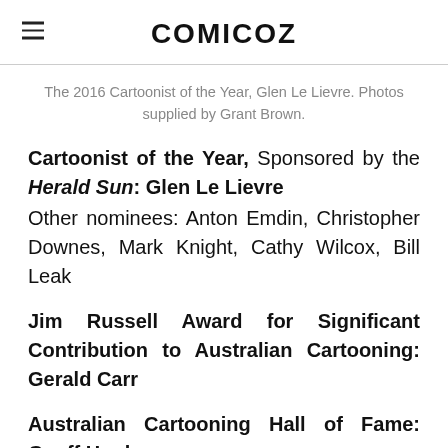COMICOZ
The 2016 Cartoonist of the Year, Glen Le Lievre. Photos supplied by Grant Brown.
Cartoonist of the Year, Sponsored by the Herald Sun: Glen Le Lievre
Other nominees: Anton Emdin, Christopher Downes, Mark Knight, Cathy Wilcox, Bill Leak
Jim Russell Award for Significant Contribution to Australian Cartooning: Gerald Carr
Australian Cartooning Hall of Fame: Geoff Hook,